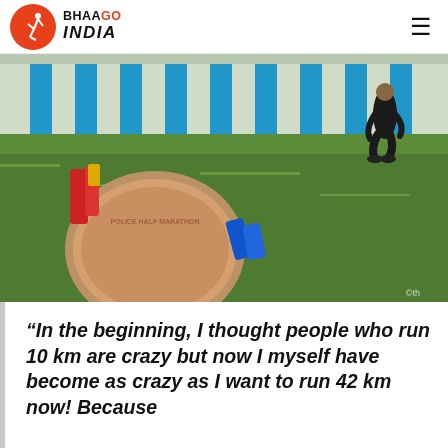BHAAGO INDIA
[Figure (photo): A marathon finisher medal resting on grass in the foreground, with a runner crouching in the background near blue and white striped walls. Red and blue ribbon visible near the medal.]
“In the beginning, I thought people who run 10 km are crazy but now I myself have become as crazy as I want to run 42 km now! Because